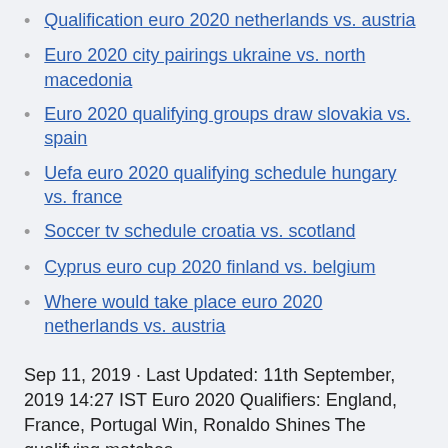Qualification euro 2020 netherlands vs. austria
Euro 2020 city pairings ukraine vs. north macedonia
Euro 2020 qualifying groups draw slovakia vs. spain
Uefa euro 2020 qualifying schedule hungary vs. france
Soccer tv schedule croatia vs. scotland
Cyprus euro cup 2020 finland vs. belgium
Where would take place euro 2020 netherlands vs. austria
Sep 11, 2019 · Last Updated: 11th September, 2019 14:27 IST Euro 2020 Qualifiers: England, France, Portugal Win, Ronaldo Shines The qualifying matches